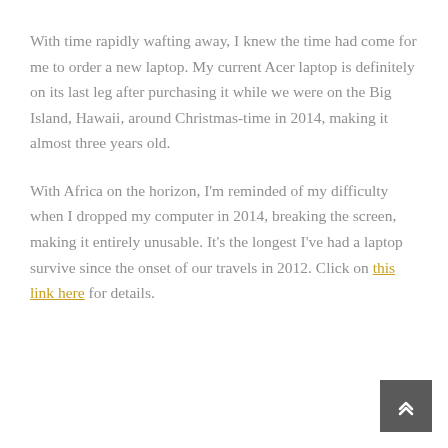With time rapidly wafting away, I knew the time had come for me to order a new laptop. My current Acer laptop is definitely on its last leg after purchasing it while we were on the Big Island, Hawaii, around Christmas-time in 2014, making it almost three years old.
With Africa on the horizon, I'm reminded of my difficulty when I dropped my computer in 2014, breaking the screen, making it entirely unusable. It's the longest I've had a laptop survive since the onset of our travels in 2012. Click on this link here for details.